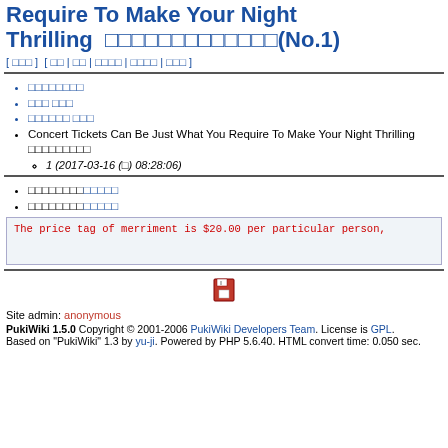Require To Make Your Night Thrilling 　□□□□□□□□□□□□□(No.1)
[ □□□ ] [ □□ | □□ | □□□□ | □□□□ | □□□ ]
□□□□□□□□
□□□ □□□
□□□□□□ □□□
Concert Tickets Can Be Just What You Require To Make Your Night Thrilling □□□□□□□□□
1 (2017-03-16 (□) 08:28:06)
□□□□□□□□□□□□□
□□□□□□□□□□□□□
The price tag of merriment is $20.00 per particular person,
Site admin: anonymous
PukiWiki 1.5.0 Copyright © 2001-2006 PukiWiki Developers Team. License is GPL. Based on "PukiWiki" 1.3 by yu-ji. Powered by PHP 5.6.40. HTML convert time: 0.050 sec.